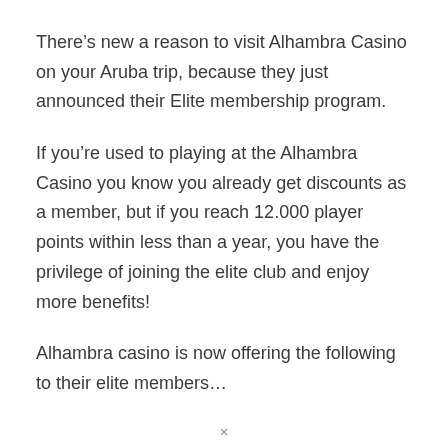There’s new a reason to visit Alhambra Casino on your Aruba trip, because they just announced their Elite membership program.
If you’re used to playing at the Alhambra Casino you know you already get discounts as a member, but if you reach 12.000 player points within less than a year, you have the privilege of joining the elite club and enjoy more benefits!
Alhambra casino is now offering the following to their elite members…
×